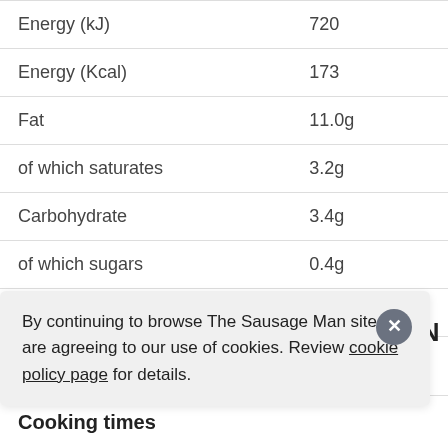| Nutrient | Amount |
| --- | --- |
| Energy (kJ) | 720 |
| Energy (Kcal) | 173 |
| Fat | 11.0g |
| of which saturates | 3.2g |
| Carbohydrate | 3.4g |
| of which sugars | 0.4g |
| Protein | 15.0g |
| Salt | 1.5g |
By continuing to browse The Sausage Man site you are agreeing to our use of cookies. Review cookie policy page for details.
IET CHICKEN
Cooking times